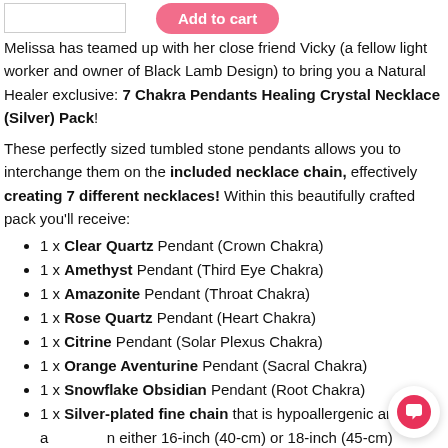Melissa has teamed up with her close friend Vicky (a fellow light worker and owner of Black Lamb Design) to bring you a Natural Healer exclusive: 7 Chakra Pendants Healing Crystal Necklace (Silver) Pack!
These perfectly sized tumbled stone pendants allows you to interchange them on the included necklace chain, effectively creating 7 different necklaces! Within this beautifully crafted pack you'll receive:
1 x Clear Quartz Pendant (Crown Chakra)
1 x Amethyst Pendant (Third Eye Chakra)
1 x Amazonite Pendant (Throat Chakra)
1 x Rose Quartz Pendant (Heart Chakra)
1 x Citrine Pendant (Solar Plexus Chakra)
1 x Orange Aventurine Pendant (Sacral Chakra)
1 x Snowflake Obsidian Pendant (Root Chakra)
1 x Silver-plated fine chain that is hypoallergenic and available in either 16-inch (40-cm) or 18-inch (45-cm) lengths